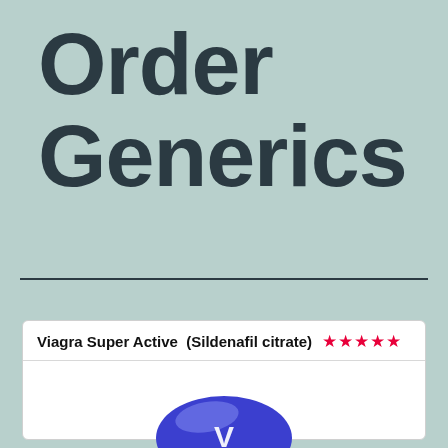Order Generics
Viagra Super Active  (Sildenafil citrate)  ★★★★★
[Figure (photo): Blue oval pill with white letter V on it, with a shadow beneath]